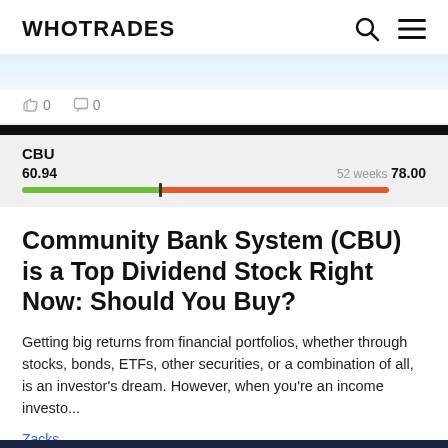WHOTRADES
[Figure (screenshot): Partial stock chart or article card from a previous article, partially visible at top]
0   0
[Figure (infographic): CBU stock price range bar: current price 60.94, 52-week high 78.00, with green bar to marker and red bar to right]
Community Bank System (CBU) is a Top Dividend Stock Right Now: Should You Buy?
Getting big returns from financial portfolios, whether through stocks, bonds, ETFs, other securities, or a combination of all, is an investor's dream. However, when you're an income investo...
Zacks
0   0